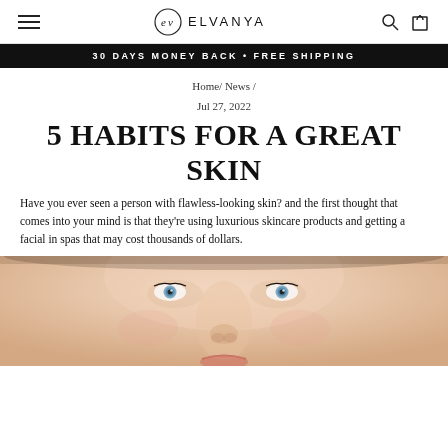ELVANYA navigation bar with menu, brand logo, search and cart icons
30 DAYS MONEY BACK • FREE SHIPPING
Home/ News /
Jul 27, 2022
5 HABITS FOR A GREAT SKIN
Have you ever seen a person with flawless-looking skin? and the first thought that comes into your mind is that they're using luxurious skincare products and getting a facial in spas that may cost thousands of dollars.
[Figure (photo): Close-up photo of a woman's face with clear, flawless skin and blue eyes looking up]